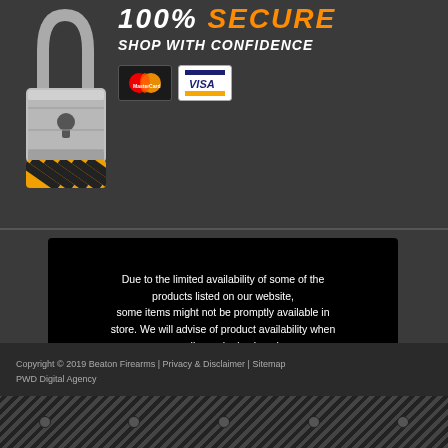[Figure (illustration): Padlock with yellow/black hazard stripes at bottom, silver metallic body]
100% SECURE SHOP WITH CONFIDENCE
[Figure (illustration): MasterCard and Visa payment logos/badges]
Due to the limited availability of some of the products listed on our website, some items might not be promptly available in store. We will advise of product availability when an online order is placed. Alternatively, please feel free to call or email us to confirm availability and/or estimated delivery times.
Copyright © 2019 Beaton Firearms | Privacy & Disclaimer | Sitemap PWD Digital Agency